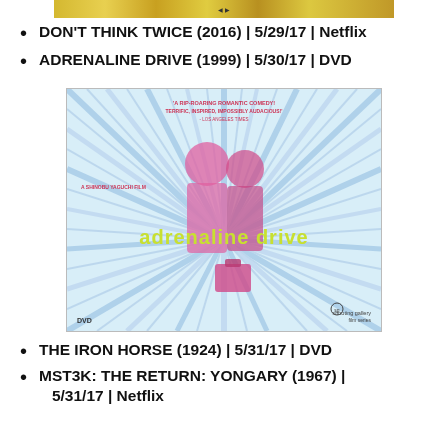[Figure (photo): Top banner/strip showing a DVD or movie cover image, partially visible at top of page]
DON'T THINK TWICE (2016) | 5/29/17 | Netflix
ADRENALINE DRIVE (1999) | 5/30/17 | DVD
[Figure (photo): DVD cover for Adrenaline Drive (1999) - a Japanese romantic comedy film. The cover shows two figures against a burst/ray pattern background in blue, pink and white. The title 'adrenaline drive' is shown in yellow-green text. Quote at top reads 'A RIP-ROARING ROMANTIC COMEDY! TERRIFIC, INSPIRED, IMPOSSIBLY AUDACIOUS! - LOS ANGELES TIMES'. Shooting Gallery Film Series logo at bottom right. DVD logo at bottom left.]
THE IRON HORSE (1924) | 5/31/17 | DVD
MST3K: THE RETURN: YONGARY (1967) | 5/31/17 | Netflix